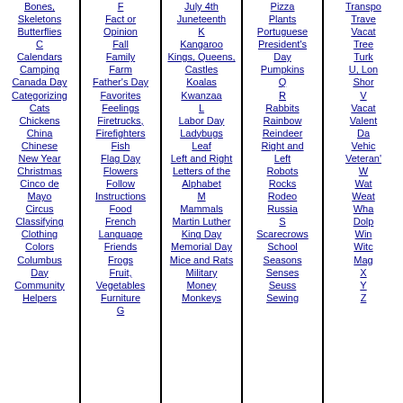Bones, Skeletons
Butterflies
C
Calendars
Camping
Canada Day
Categorizing
Cats
Chickens
China
Chinese New Year
Christmas
Cinco de Mayo
Circus
Classifying
Clothing
Colors
Columbus Day
Community Helpers
F
Fact or Opinion
Fall
Family
Farm
Father's Day
Favorites
Feelings
Firetrucks, Firefighters
Fish
Flag Day
Flowers
Follow Instructions
Food
French Language
Friends
Frogs
Fruit, Vegetables
Furniture
G
July 4th
Juneteenth
K
Kangaroo
Kings, Queens, Castles
Koalas
Kwanzaa
L
Labor Day
Ladybugs
Leaf
Left and Right
Letters of the Alphabet
M
Mammals
Martin Luther King Day
Memorial Day
Mice and Rats
Military
Money
Monkeys
Pizza
Plants
Portuguese
President's Day
Pumpkins
Q
R
Rabbits
Rainbow
Reindeer
Right and Left
Robots
Rocks
Rodeo
Russia
S
Scarecrows
School
Seasons
Senses
Seuss
Sewing
Transportation
Travel
Vacation
Trees
Turkey
U, Long/Short
V
Vacation
Valentine's Day
Vehicles
Veteran's Day
W
Water
Weather
Whales, Dolphins
Winter
Witches, Magic
X
Y
Z